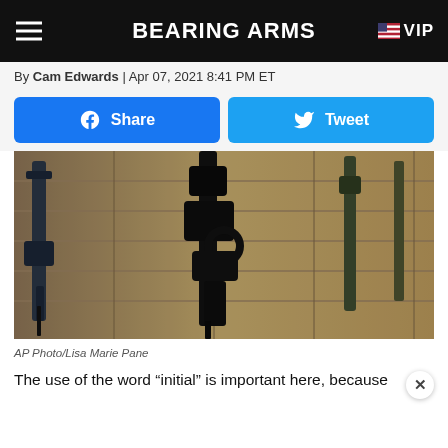BEARING ARMS  VIP
By Cam Edwards | Apr 07, 2021 8:41 PM ET
[Figure (other): Share on Facebook button and Tweet button (social sharing buttons)]
[Figure (photo): Rifles displayed on a wall rack in a gun store, showing multiple AR-style rifles]
AP Photo/Lisa Marie Pane
The use of the word “initial” is important here, because